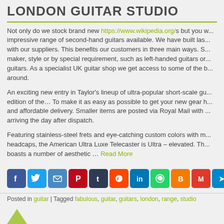LONDON GUITAR STUDIO
Not only do we stock brand new https://www.wikipedia.org/s but you will also find an impressive range of second-hand guitars available. We have built lasting relationships with our suppliers. This benefits our customers in three main ways. S... maker, style or by special requirement, such as left-handed guitars or... guitars. As a specialist UK guitar shop we get access to some of the b... around.
An exciting new entry in Taylor's lineup of ultra-popular short-scale gu... edition of the… To make it as easy as possible to get your new gear h... and affordable delivery. Smaller items are posted via Royal Mail with ... arriving the day after dispatch.
Featuring stainless-steel frets and eye-catching custom colors with m... headcaps, the American Ultra Luxe Telecaster is Ultra – elevated. Th... boasts a number of aesthetic … Read More
[Figure (infographic): Row of social media sharing buttons: Facebook, Twitter, Email, Pinterest, Tumblr, Reddit, LinkedIn, WhatsApp, Blogger, Gmail, Telegram]
Posted in guitar | Tagged fabulous, guitar, guitars, london, range, studio